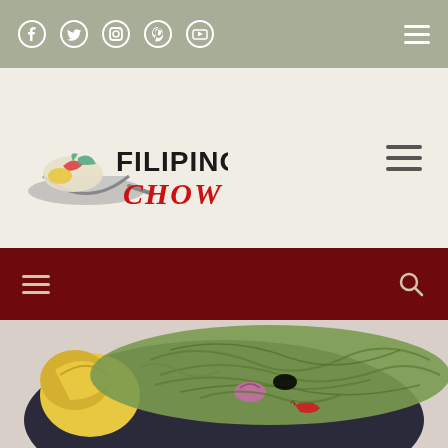Social media icons bar (Facebook, Twitter, Instagram, Pinterest, YouTube) with hamburger menu
[Figure (logo): Filipino Chow logo with wok/pan containing food, bold text FILIPINO CHOW with CHOW in red]
Dark red navigation bar with hamburger menu on left and search icon on right
[Figure (photo): Food photo showing a dark plate with green seaweed/noodles, red chilies, purple onion slices, and yellow banana blossoms or similar yellow vegetables]